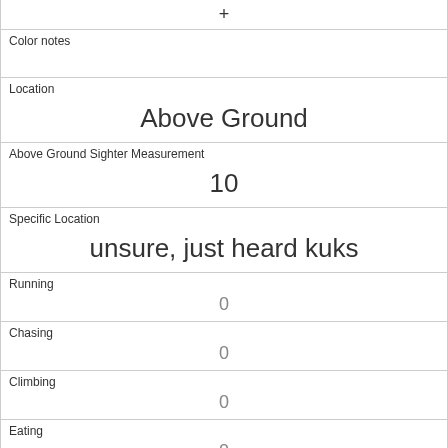+
Color notes
Location
Above Ground
Above Ground Sighter Measurement
10
Specific Location
unsure, just heard kuks
Running
0
Chasing
0
Climbing
0
Eating
0
Foraging
0
Other Activities